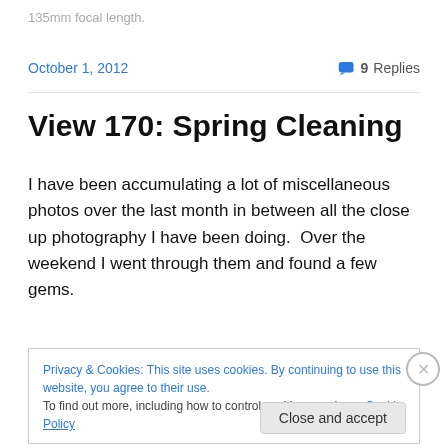135mm focal length.
October 1, 2012  💬 9 Replies
View 170: Spring Cleaning
I have been accumulating a lot of miscellaneous photos over the last month in between all the close up photography I have been doing.  Over the weekend I went through them and found a few gems.
Privacy & Cookies: This site uses cookies. By continuing to use this website, you agree to their use.
To find out more, including how to control cookies, see here: Cookie Policy